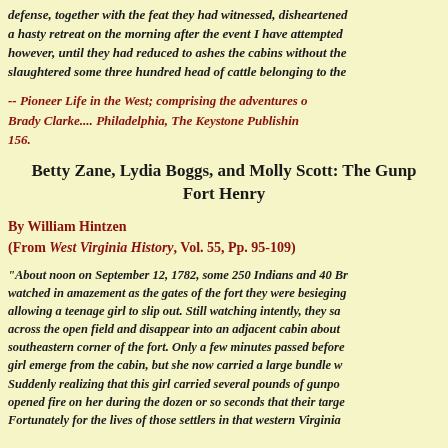defense, together with the feat they had witnessed, disheartened a hasty retreat on the morning after the event I have attempted however, until they had reduced to ashes the cabins without the slaughtered some three hundred head of cattle belonging to the
-- Pioneer Life in the West; comprising the adventures of Brady Clarke.... Philadelphia, The Keystone Publishing 156.
Betty Zane, Lydia Boggs, and Molly Scott: The Gunpe Fort Henry
By William Hintzen
(From West Virginia History, Vol. 55, Pp. 95-109)
"About noon on September 12, 1782, some 250 Indians and 40 Br watched in amazement as the gates of the fort they were besieging allowing a teenage girl to slip out. Still watching intently, they sa across the open field and disappear into an adjacent cabin about southeastern corner of the fort. Only a few minutes passed before girl emerge from the cabin, but she now carried a large bundle w Suddenly realizing that this girl carried several pounds of gunpo opened fire on her during the dozen or so seconds that their targe Fortunately for the lives of those settlers in that western Virginia